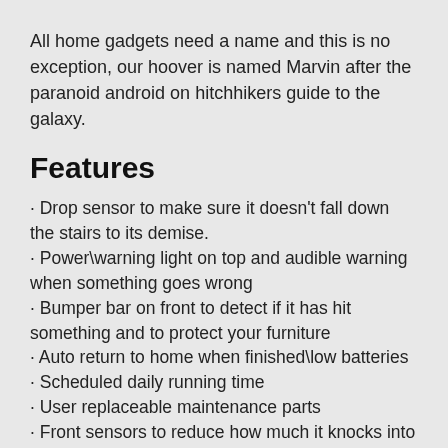All home gadgets need a name and this is no exception, our hoover is named Marvin after the paranoid android on hitchhikers guide to the galaxy.
Features
Drop sensor to make sure it doesn’t fall down the stairs to its demise.
Power\warning light on top and audible warning when something goes wrong
Bumper bar on front to detect if it has hit something and to protect your furniture
Auto return to home when finished\low batteries
Scheduled daily running time
User replaceable maintenance parts
Front sensors to reduce how much it knocks into things.